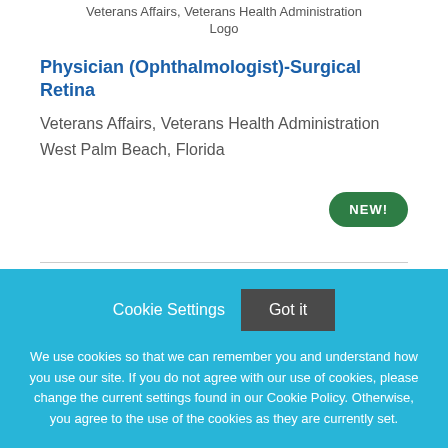Veterans Affairs, Veterans Health Administration
Logo
Physician (Ophthalmologist)-Surgical Retina
Veterans Affairs, Veterans Health Administration
West Palm Beach, Florida
NEW!
Cookie Settings  Got it
We use cookies so that we can remember you and understand how you use our site. If you do not agree with our use of cookies, please change the current settings found in our Cookie Policy. Otherwise, you agree to the use of the cookies as they are currently set.